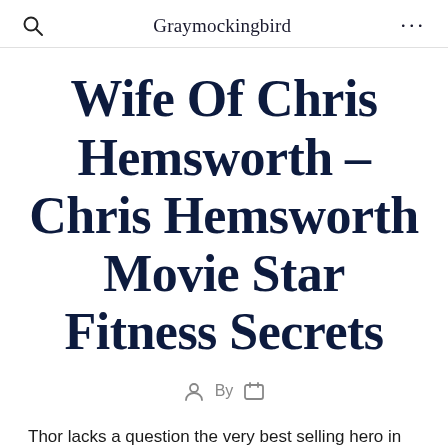Graymockingbird
Wife Of Chris Hemsworth – Chris Hemsworth Movie Star Fitness Secrets
By
Thor lacks a question the very best selling hero in the Wonder comics globe. He is the master of